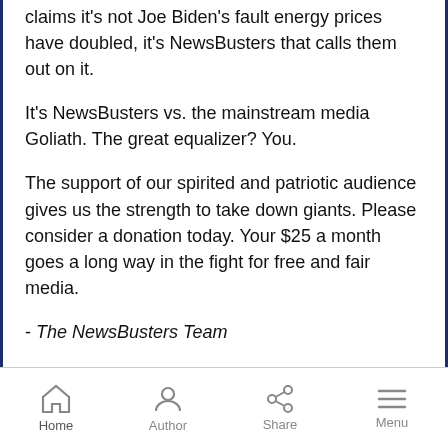claims it's not Joe Biden's fault energy prices have doubled, it's NewsBusters that calls them out on it.
It's NewsBusters vs. the mainstream media Goliath. The great equalizer? You.
The support of our spirited and patriotic audience gives us the strength to take down giants. Please consider a donation today. Your $25 a month goes a long way in the fight for free and fair media.
- The NewsBusters Team
[Figure (other): Orange DONATE button]
Home  Author  Share  Menu